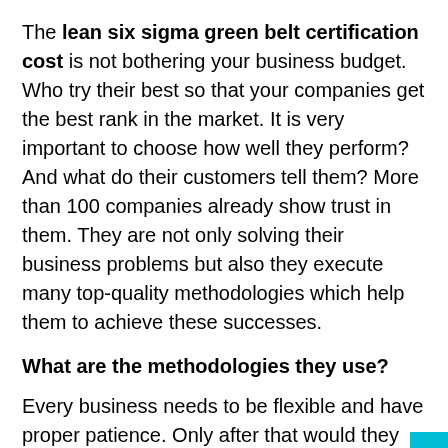The lean six sigma green belt certification cost is not bothering your business budget. Who try their best so that your companies get the best rank in the market. It is very important to choose how well they perform? And what do their customers tell them? More than 100 companies already show trust in them. They are not only solving their business problems but also they execute many top-quality methodologies which help them to achieve these successes.
What are the methodologies they use?
Every business needs to be flexible and have proper patience. Only after that would they give their clients result-oriented projects and lead to higher profit margins. Now, look at some of the basic ways of their working:
Understanding the business: Knowing the business